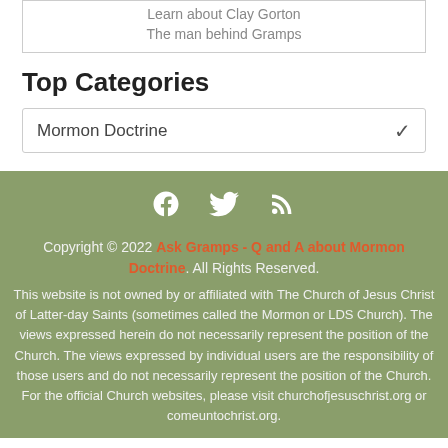Learn about Clay Gorton
The man behind Gramps
Top Categories
Mormon Doctrine
[Figure (infographic): Social media icons: Facebook (f), Twitter (bird), RSS feed]
Copyright © 2022 Ask Gramps - Q and A about Mormon Doctrine. All Rights Reserved. This website is not owned by or affiliated with The Church of Jesus Christ of Latter-day Saints (sometimes called the Mormon or LDS Church). The views expressed herein do not necessarily represent the position of the Church. The views expressed by individual users are the responsibility of those users and do not necessarily represent the position of the Church. For the official Church websites, please visit churchofjesuschrist.org or comeuntochrist.org.